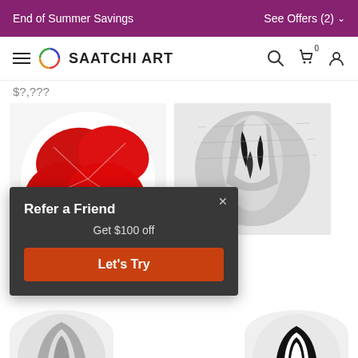End of Summer Savings   See Offers (2)
[Figure (screenshot): Saatchi Art navigation bar with hamburger menu, circular logo, SAATCHI ART text, search icon, cart icon (0), and user icon]
$9,210 (partial price visible at top)
[Figure (photo): Circular cropped artwork showing red poppy flowers on white background]
[Figure (photo): Circular cropped artwork showing grey abstract head sculpture in black and white]
Grey Head
$9,210
Refer a Friend
Get $100 off
Let's Try
[Figure (photo): Partial circular artwork visible at bottom right, black and white pattern]